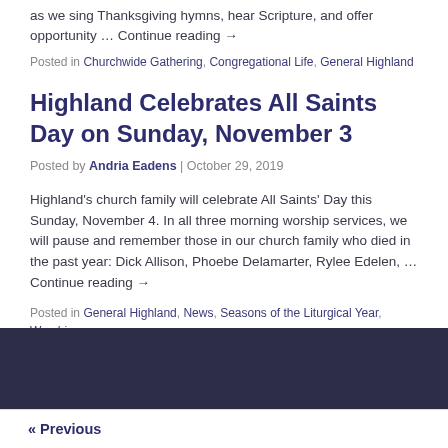as we sing Thanksgiving hymns, hear Scripture, and offer opportunity … Continue reading →
Posted in Churchwide Gathering, Congregational Life, General Highland
Highland Celebrates All Saints Day on Sunday, November 3
Posted by Andria Eadens | October 29, 2019
Highland's church family will celebrate All Saints' Day this Sunday, November 4. In all three morning worship services, we will pause and remember those in our church family who died in the past year: Dick Allison, Phoebe Delamarter, Rylee Edelen, … Continue reading →
Posted in General Highland, News, Seasons of the Liturgical Year, Worship
« Previous